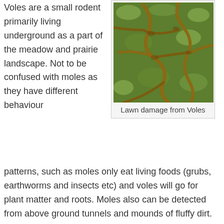Voles are a small rodent primarily living underground as a part of the meadow and prairie landscape. Not to be confused with moles as they have different behaviour patterns, such as moles only eat living foods (grubs, earthworms and insects etc) and voles will go for plant matter and roots. Moles also can be detected from above ground tunnels and mounds of fluffy dirt. Whereas the voles will create more matted down ‘runways’ in your lawn (see image to the right) and some will be eating the grass clippings on the lawn. In the image below you can see the shape and size of a vole hole in your lawn (note that it is missing any
[Figure (photo): Aerial photograph of lawn showing brown runways and tunnels created by voles through green grass]
Lawn damage from Voles